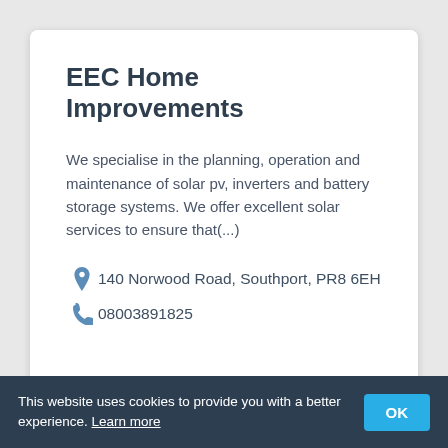EEC Home Improvements
We specialise in the planning, operation and maintenance of solar pv, inverters and battery storage systems. We offer excellent solar services to ensure that(...)
140 Norwood Road, Southport, PR8 6EH
08003891825
This website uses cookies to provide you with a better experience. Learn more